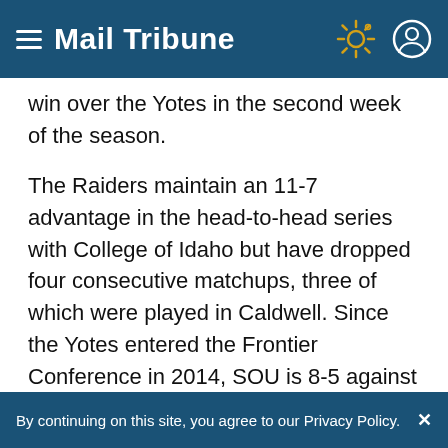Mail Tribune
win over the Yotes in the second week of the season.
The Raiders maintain an 11-7 advantage in the head-to-head series with College of Idaho but have dropped four consecutive matchups, three of which were played in Caldwell. Since the Yotes entered the Frontier Conference in 2014, SOU is 8-5 against them. But they'll be attempting to sweep the series for the second (full) season in a row.
By continuing on this site, you agree to our Privacy Policy.